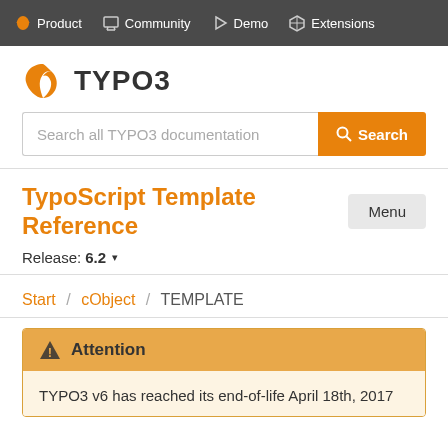Product  Community  Demo  Extensions
[Figure (logo): TYPO3 orange logo mark with text TYPO3]
Search all TYPO3 documentation
TypoScript Template Reference
Release: 6.2
Start / cObject / TEMPLATE
Attention
TYPO3 v6 has reached its end-of-life April 18th, 2017